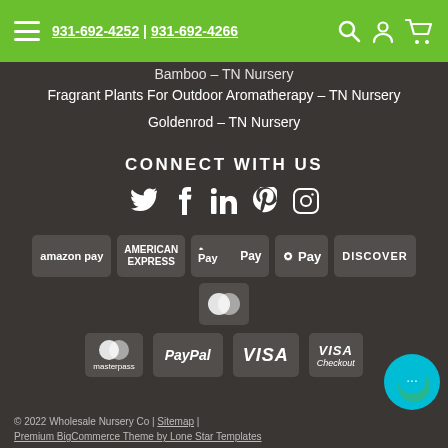931-692-4252 | 931-692-4266
Bamboo – TN Nursery
Fragrant Plants For Outdoor Aromatherapy – TN Nursery
Goldenrod – TN Nursery
CONNECT WITH US
[Figure (infographic): Social media icons: Twitter, Facebook, LinkedIn, Pinterest, Instagram]
[Figure (infographic): Payment method logos: Amazon Pay, American Express, Apple Pay, G Pay, Discover, MasterCard, Masterpass, PayPal, VISA, VISA Checkout]
© 2022 Wholesale Nursery Co | Sitemap | Premium BigCommerce Theme by Lone Star Templates